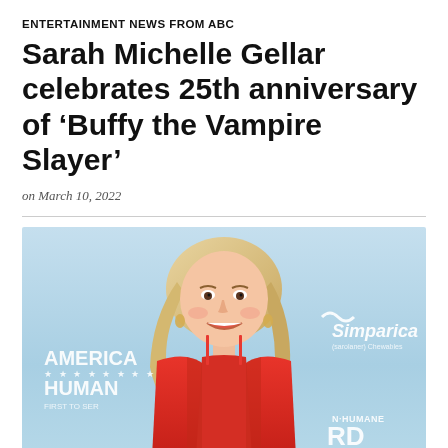ENTERTAINMENT NEWS FROM ABC
Sarah Michelle Gellar celebrates 25th anniversary of ‘Buffy the Vampire Slayer’
on March 10, 2022
[Figure (photo): Sarah Michelle Gellar smiling in a red lace dress at an event backdrop featuring American Humane and Simparica sponsor logos on a light blue background]